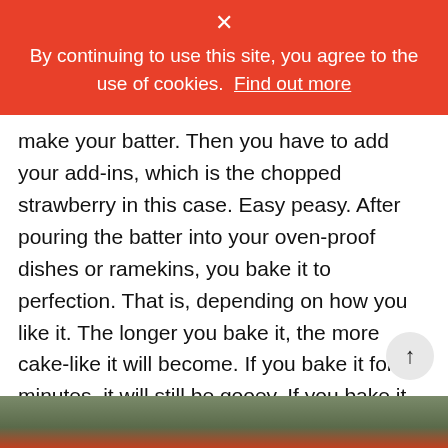× By continuing to use this site, you agree to the use of cookies. Find out more
make your batter. Then you have to add your add-ins, which is the chopped strawberry in this case. Easy peasy. After pouring the batter into your oven-proof dishes or ramekins, you bake it to perfection. That is, depending on how you like it. The longer you bake it, the more cake-like it will become. If you bake it for 18 minutes, it will still be gooey. If you bake it for 20 minutes, it will be sort of in between gooey and cake. And if you bake it for 22 minutes, it will be close to cake. You decide!
[Figure (photo): Bottom portion of a food photo showing a baked dish]